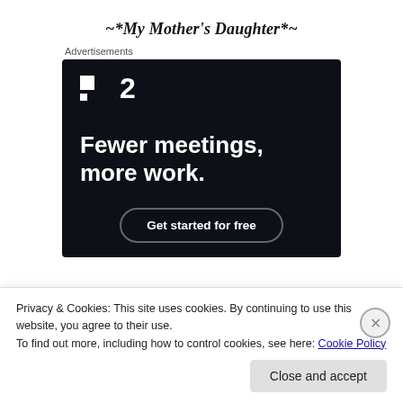~*My Mother's Daughter*~
Advertisements
[Figure (screenshot): Advertisement banner for a productivity tool (P2) with dark background, white text reading 'Fewer meetings, more work.' and a 'Get started for free' button.]
Privacy & Cookies: This site uses cookies. By continuing to use this website, you agree to their use.
To find out more, including how to control cookies, see here: Cookie Policy